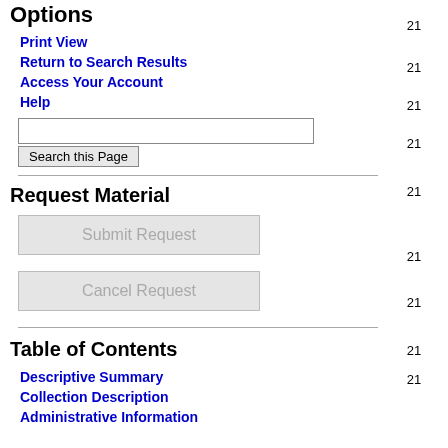Options
Print View
Return to Search Results
Access Your Account
Help
Request Material
Table of Contents
Descriptive Summary
Collection Description
Administrative Information
|  |  |  |
| --- | --- | --- |
| 21 | 9 | Ame |
| 21 | 10 | Gre
Con |
| 21 | 11 | You
Awa |
| 21 | 12 | Patr
Con |
| 21 | 13 | Bice
Slog
197 |
| 21 | 14 | Pen
APR
Part
Fea |
| 21 | 15 | Dou
Day |
| 21 | 16 | Dec
WSI
197 |
| 21 | 17 | Swe |
| 21 |  | EWA |